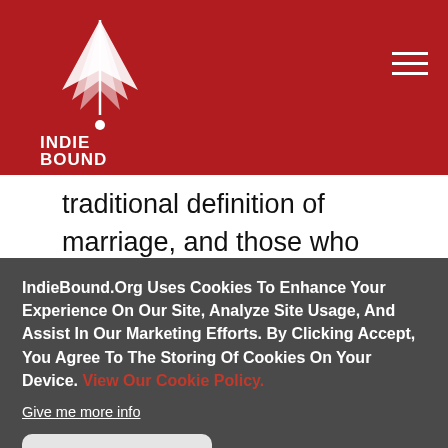IndieBound logo and navigation header
traditional definition of marriage, and those who changed their minds about it, The Engagement is certain to become a seminal book on the modern culture wars.
IndieBound.Org Uses Cookies To Enhance Your Experience On Our Site, Analyze Site Usage, And Assist In Our Marketing Efforts. By Clicking Accept, You Agree To The Storing Of Cookies On Your Device. View Our Cookie Policy.
Give me more info
Accept all Cookies